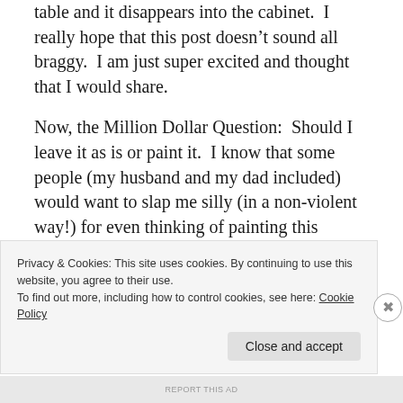table and it disappears into the cabinet. I really hope that this post doesn’t sound all braggy. I am just super excited and thought that I would share.
Now, the Million Dollar Question: Should I leave it as is or paint it. I know that some people (my husband and my dad included) would want to slap me silly (in a non-violent way!) for even thinking of painting this antique. I tend to prefer painted wood over non-painted. It’s just me. Ask my hubby. He
Privacy & Cookies: This site uses cookies. By continuing to use this website, you agree to their use.
To find out more, including how to control cookies, see here: Cookie Policy
Close and accept
REPORT THIS AD